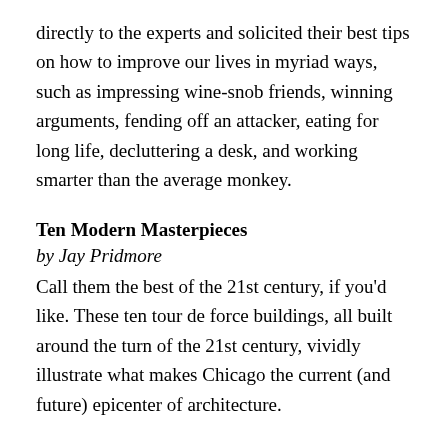directly to the experts and solicited their best tips on how to improve our lives in myriad ways, such as impressing wine-snob friends, winning arguments, fending off an attacker, eating for long life, decluttering a desk, and working smarter than the average monkey.
Ten Modern Masterpieces
by Jay Pridmore
Call them the best of the 21st century, if you'd like. These ten tour de force buildings, all built around the turn of the 21st century, vividly illustrate what makes Chicago the current (and future) epicenter of architecture.